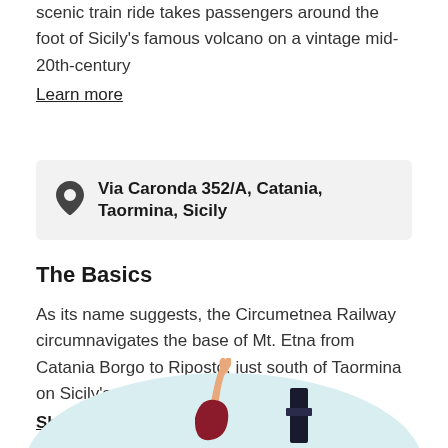scenic train ride takes passengers around the foot of Sicily's famous volcano on a vintage mid-20th-century
Learn more
Via Caronda 352/A, Catania, Taormina, Sicily
The Basics
As its name suggests, the Circumetnea Railway circumnavigates the base of Mt. Etna from Catania Borgo to Riposto, just south of Taormina on Sicily's...
Show all
[Figure (illustration): Partial illustration showing a person with raised hand and travel-themed elements on a light teal background, partially cropped at bottom of page]